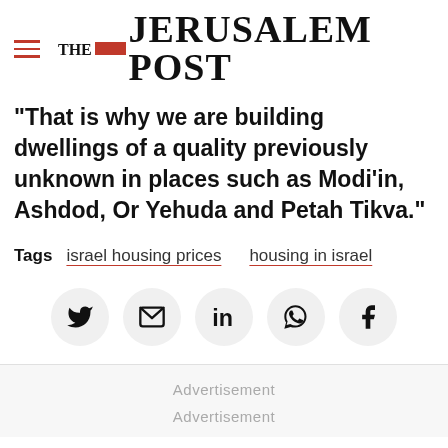THE JERUSALEM POST
"That is why we are building dwellings of a quality previously unknown in places such as Modi'in, Ashdod, Or Yehuda and Petah Tikva."
Tags  israel housing prices  housing in israel
[Figure (infographic): Social share buttons: Twitter, Email, LinkedIn, WhatsApp, Facebook]
Advertisement
Advertisement